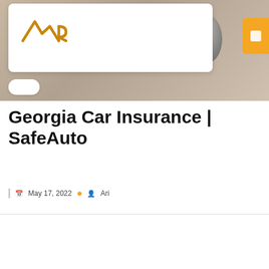[Figure (photo): Website header with navigation bar containing AR logo (mountain/letter logo in orange/gold), white nav card, orange menu button on right side, and decorative chrome/metallic orb shapes in background on beige/tan surface]
Georgia Car Insurance | SafeAuto
May 17, 2022  •  Ari
[Figure (illustration): 3D isometric illustration of a document/form card with 'Title' text and horizontal lines, glowing blue-purple on dark purple background]